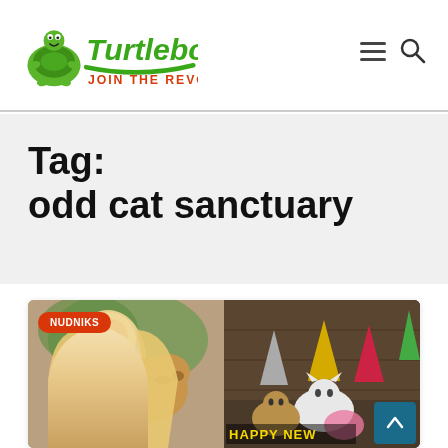[Figure (logo): Turtleboy Sports logo — green cartoon turtle mascot with 'Turtleboy' in green script and 'JOIN THE REVOLUTION' in red below, navigation hamburger menu and search icon on the right]
Tag:
odd cat sanctuary
[Figure (photo): Article card thumbnail: left half shows a blonde woman with a large dog; right half shows cats wearing party hats with 'HAPPY NEW' text overlay. Red badge reads 'NUDNIKS' in white.]